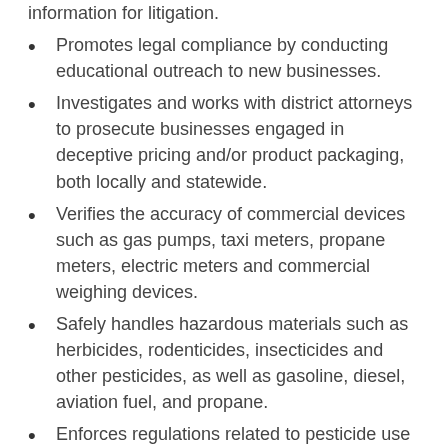information for litigation.
Promotes legal compliance by conducting educational outreach to new businesses.
Investigates and works with district attorneys to prosecute businesses engaged in deceptive pricing and/or product packaging, both locally and statewide.
Verifies the accuracy of commercial devices such as gas pumps, taxi meters, propane meters, electric meters and commercial weighing devices.
Safely handles hazardous materials such as herbicides, rodenticides, insecticides and other pesticides, as well as gasoline, diesel, aviation fuel, and propane.
Enforces regulations related to pesticide use and storage, and worker health and safety;